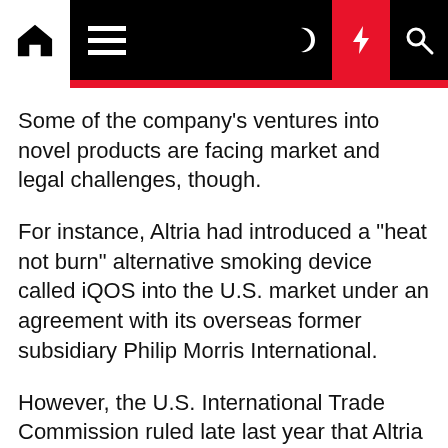[Navigation bar with home, menu, dark mode, lightning, and search icons]
Some of the company's ventures into novel products are facing market and legal challenges, though.
For instance, Altria had introduced a "heat not burn" alternative smoking device called iQOS into the U.S. market under an agreement with its overseas former subsidiary Philip Morris International.
However, the U.S. International Trade Commission ruled late last year that Altria and Philip Morris International must halt imports and sales of the iQOS device because it infringes two patents held by their top competitor, Winston-Salem, N.C.-based R.J. Reynolds Tobacco Co.
Altria is working on ways to bring the product back to the U.S., market, Gifford said.